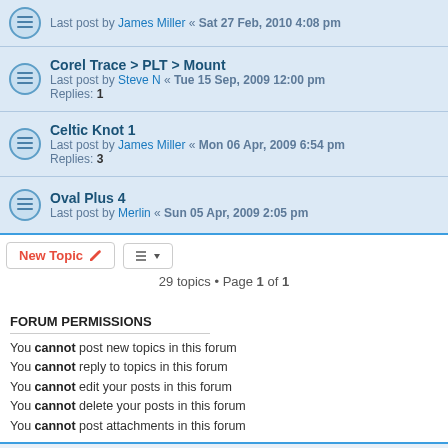Last post by James Miller « Sat 27 Feb, 2010 4:08 pm
Corel Trace > PLT > Mount
Last post by Steve N « Tue 15 Sep, 2009 12:00 pm
Replies: 1
Celtic Knot 1
Last post by James Miller « Mon 06 Apr, 2009 6:54 pm
Replies: 3
Oval Plus 4
Last post by Merlin « Sun 05 Apr, 2009 2:05 pm
29 topics • Page 1 of 1
FORUM PERMISSIONS
You cannot post new topics in this forum
You cannot reply to topics in this forum
You cannot edit your posts in this forum
You cannot delete your posts in this forum
You cannot post attachments in this forum
Board index   Contact us   Delete cookies   All times are UTC
Powered by phpBB® Forum Software © phpBB Limited
Privacy | Terms